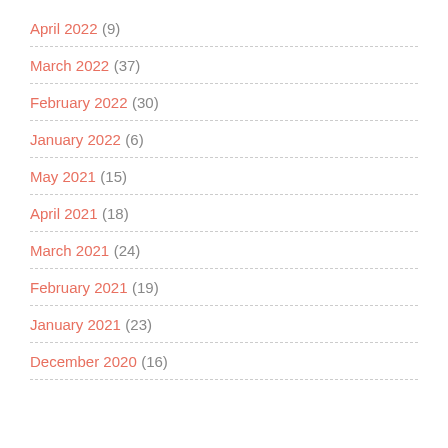April 2022 (9)
March 2022 (37)
February 2022 (30)
January 2022 (6)
May 2021 (15)
April 2021 (18)
March 2021 (24)
February 2021 (19)
January 2021 (23)
December 2020 (16)